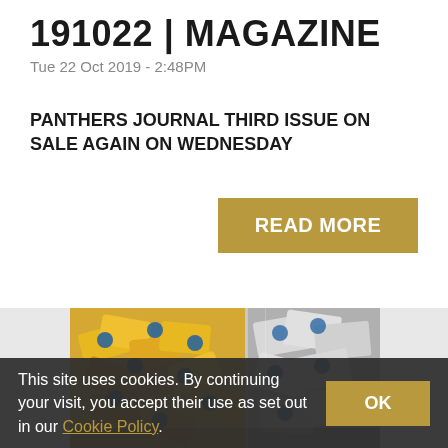191022 | MAGAZINE
Tue 22 Oct 2019 - 2:48PM
PANTHERS JOURNAL THIRD ISSUE ON SALE AGAIN ON WEDNESDAY
[Figure (photo): Pile of yellow and white Panthers Journal magazines in plastic packaging]
This site uses cookies. By continuing your visit, you accept their use as set out in our Cookie Policy.